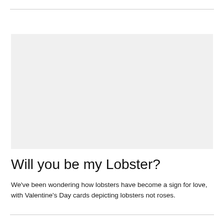[Figure (photo): A large rectangular light gray placeholder image area occupying the upper portion of the page.]
Will you be my Lobster?
We've been wondering how lobsters have become a sign for love, with Valentine's Day cards depicting lobsters not roses.